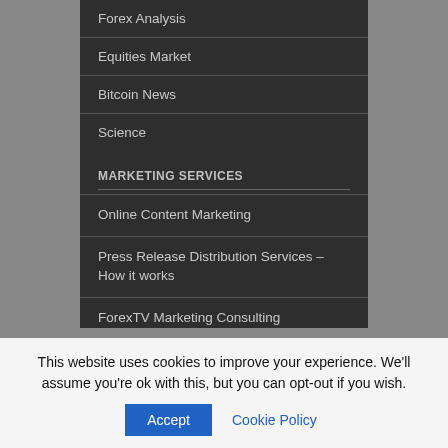Forex Analysis
Equities Market
Bitcoin News
Science
MARKETING SERVICES
Online Content Marketing
Press Release Distribution Services – How it works
ForexTV Marketing Consulting
ForexTV Inbound Marketing Services
This website uses cookies to improve your experience. We'll assume you're ok with this, but you can opt-out if you wish.
Accept
Cookie Policy